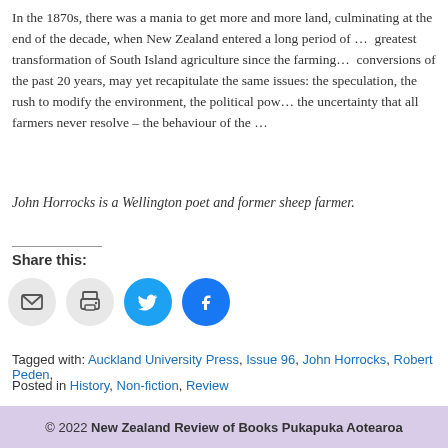In the 1870s, there was a mania to get more and more land, culminating at the end of the decade, when New Zealand entered a long period of … greatest transformation of South Island agriculture since the farming … conversions of the past 20 years, may yet recapitulate the same issues: the speculation, the rush to modify the environment, the political power … the uncertainty that all farmers never resolve – the behaviour of the …
John Horrocks is a Wellington poet and former sheep farmer.
Share this:
[Figure (infographic): Four social sharing buttons: email (light grey circle), print (light grey circle), Twitter (blue circle with bird icon), Facebook (dark blue circle with F icon)]
Tagged with: Auckland University Press, Issue 96, John Horrocks, Robert Peden, …
Posted in History, Non-fiction, Review
© 2022 New Zealand Review of Books Pukapuka Aotearoa